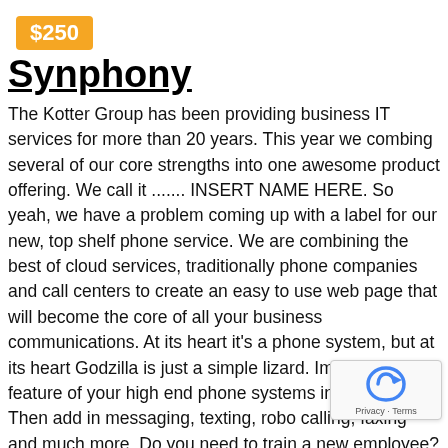$250
Synphony
The Kotter Group has been providing business IT services for more than 20 years. This year we combing several of our core strengths into one awesome product offering. We call it ....... INSERT NAME HERE. So yeah, we have a problem coming up with a label for our new, top shelf phone service. We are combining the best of cloud services, traditionally phone companies and call centers to create an easy to use web page that will become the core of all your business communications. At its heart it's a phone system, but at its heart Godzilla is just a simple lizard. Imagine every feature of your high end phone systems in one place. Then add in messaging, texting, robo calling, faxing and much more. Do you need to train a new employee? A supervisor can listen on calls, talk to the new employee so that the caller doesn't hear, or just take over a call. Need to tie remote locations together. We're completely web based so your phone follows you were ever you go.